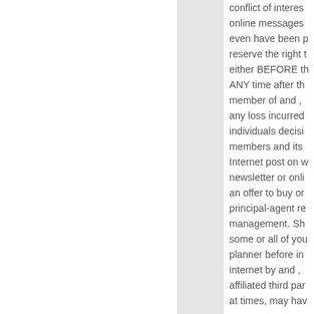conflict of interes online messages even have been p reserve the right t either BEFORE th ANY time after th member of and , any loss incurred individuals decisi members and its Internet post on w newsletter or onli an offer to buy or principal-agent re management. Sh some or all of you planner before in internet by and , affiliated third par at times, may hav